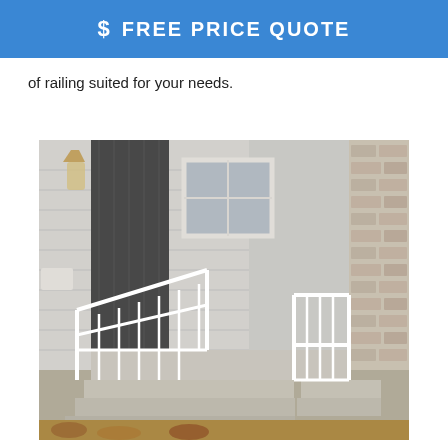$ FREE PRICE QUOTE
of railing suited for your needs.
[Figure (photo): Photo of a house entrance with white metal railings on both sides of concrete steps, gray siding, a dark door, a window, and a brick column on the right.]